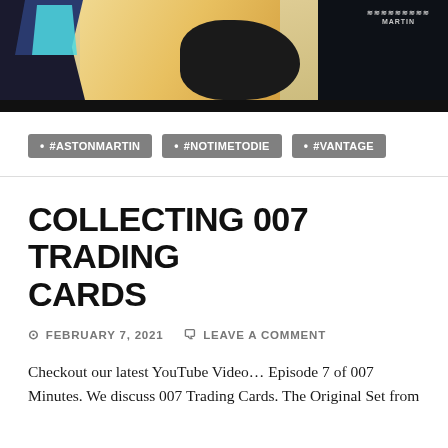[Figure (photo): Partial photo of an Aston Martin car event or showroom, showing cyan shape on left, dark car body in center, and dark navy/black area on right with Aston Martin logo visible]
#ASTONMARTIN
#NOTIMETODIE
#VANTAGE
COLLECTING 007 TRADING CARDS
FEBRUARY 7, 2021   LEAVE A COMMENT
Checkout our latest YouTube Video… Episode 7 of 007 Minutes. We discuss 007 Trading Cards. The Original Set from